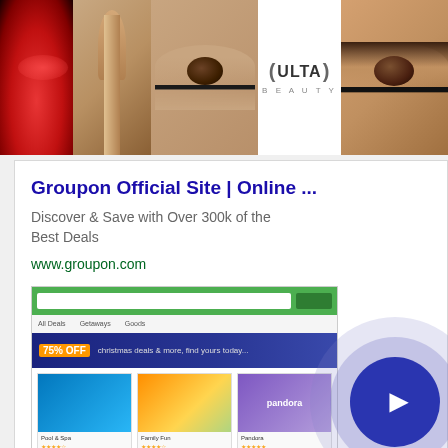[Figure (screenshot): Banner advertisement for ULTA Beauty showing makeup images (red lips, makeup brush, eye closeup, ULTA logo, eye closeup) and SHOP NOW text with close button]
[Figure (screenshot): Groupon online advertisement card showing title 'Groupon Official Site | Online ...', description 'Discover & Save with Over 300k of the Best Deals', URL www.groupon.com, with a screenshot of the Groupon website and a play button overlay]
Groupon Official Site | Online ...
Discover & Save with Over 300k of the Best Deals
www.groupon.com
[Figure (screenshot): Kohl's advertisement showing title 'Up to 60% off Clothing at Kohl's', description 'Save up to 60% on clothing and homeware at Kohl's.com', URL kohls.com, with thumbnail screenshot and play button overlay, plus X close button and Ads label]
Up to 60% off Clothing at Kohl's
Save up to 60% on clothing and homeware at Kohl's.com
kohls.com